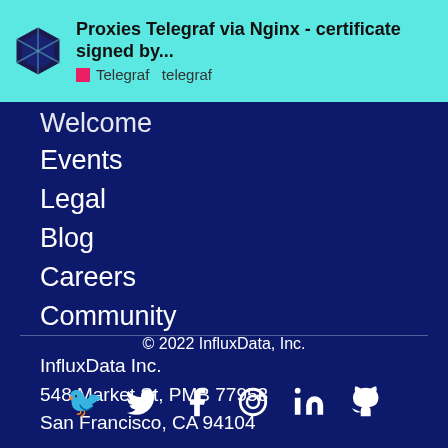Proxies Telegraf via Nginx - certificate signed by... Telegraf telegraf
Welcome
Events
Legal
Blog
Careers
Community
InfluxData Inc.
548 Market St, PMB 77953
San Francisco, CA 94104
© 2022 InfluxData, Inc.